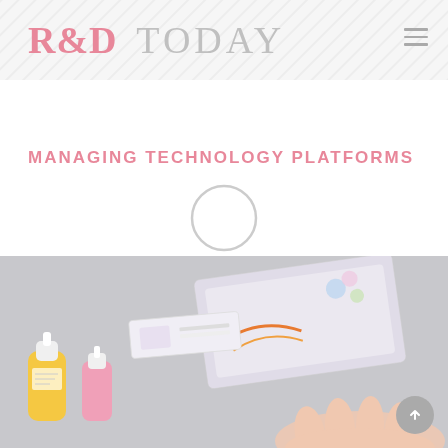R&D TODAY
MANAGING TECHNOLOGY PLATFORMS
[Figure (photo): Photograph of several small medical/diagnostic test kit items including colorful dropper bottles (yellow and pink), a rapid test strip/cassette, and a foil packaging with illustrated design on a grey surface, with a hand visible at the bottom right.]